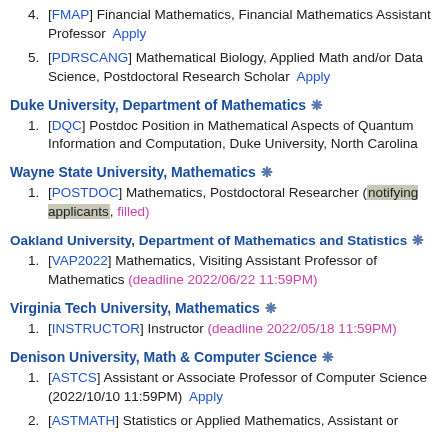11:59PM)  Apply
[FMAP] Financial Mathematics, Financial Mathematics Assistant Professor  Apply
[PDRSCANG] Mathematical Biology, Applied Math and/or Data Science, Postdoctoral Research Scholar  Apply
Duke University, Department of Mathematics ❄
[DQC] Postdoc Position in Mathematical Aspects of Quantum Information and Computation, Duke University, North Carolina
Wayne State University, Mathematics ❄
[POSTDOC] Mathematics, Postdoctoral Researcher (notifying applicants, filled)
Oakland University, Department of Mathematics and Statistics ❄
[VAP2022] Mathematics, Visiting Assistant Professor of Mathematics (deadline 2022/06/22 11:59PM)
Virginia Tech University, Mathematics ❄
[INSTRUCTOR] Instructor (deadline 2022/05/18 11:59PM)
Denison University, Math & Computer Science ❄
[ASTCS] Assistant or Associate Professor of Computer Science (2022/10/10 11:59PM)  Apply
[ASTMATH] Statistics or Applied Mathematics, Assistant or